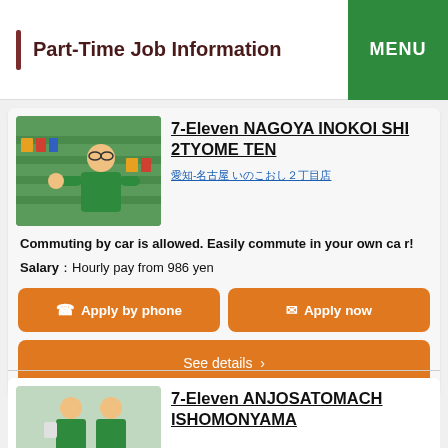Part-Time Job Information
7-Eleven NAGOYA INOKOI SHI 2TYOME TEN
愛知-名古屋 いのこおし２丁目店
Commuting by car is allowed. Easily commute in your own car!
Salary： Hourly pay from 986 yen
Apply by phone
Apply now
See details ›
7-Eleven ANJOSATOMACH ISHOMONYAMA